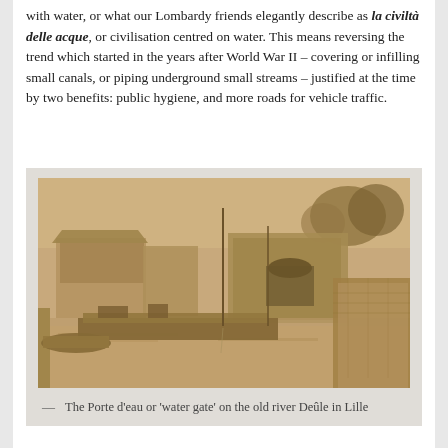with water, or what our Lombardy friends elegantly describe as la civiltà delle acque, or civilisation centred on water. This means reversing the trend which started in the years after World War II – covering or infilling small canals, or piping underground small streams – justified at the time by two benefits: public hygiene, and more roads for vehicle traffic.
[Figure (photo): Sepia-toned historical photograph of the Porte d'eau or 'water gate' on the old river Deûle in Lille, showing canal barges moored along a stone quay with warehouses and a bridge arch in the background.]
The Porte d'eau or 'water gate' on the old river Deûle in Lille